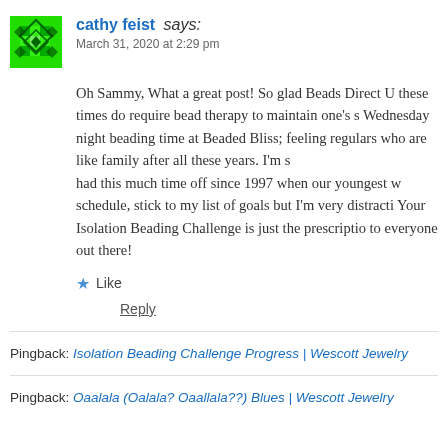[Figure (illustration): Green pixel/diamond pattern avatar icon for user cathy feist]
cathy feist says:
March 31, 2020 at 2:29 pm
Oh Sammy, What a great post! So glad Beads Direct U... these times do require bead therapy to maintain one's s... Wednesday night beading time at Beaded Bliss; feeling... regulars who are like family after all these years. I'm s... had this much time off since 1997 when our youngest w... schedule, stick to my list of goals but I'm very distracti... Your Isolation Beading Challenge is just the prescriptio... to everyone out there!
★ Like
Reply
Pingback: Isolation Beading Challenge Progress | Wescott Jewelry
Pingback: Oaalala (Oalala? Oaallala??) Blues | Wescott Jewelry